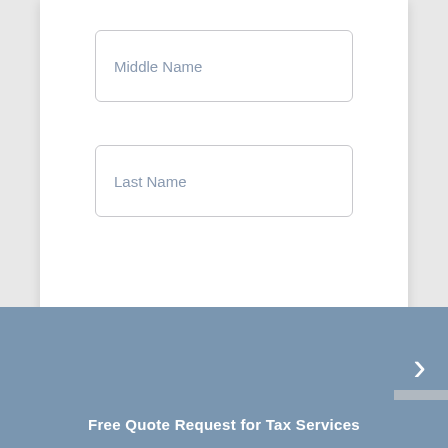Middle Name
Last Name
[Figure (screenshot): Blue navigation bar with a right-pointing chevron arrow on the right side]
Free Quote Request for Tax Services